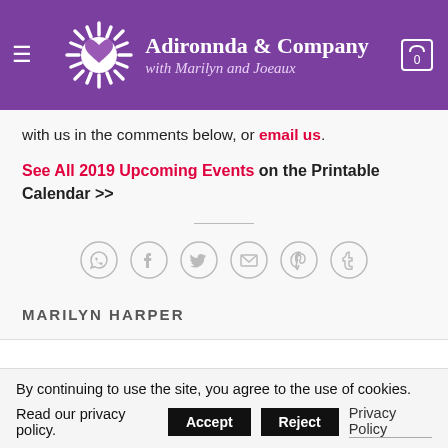Adironnda & Company with Marilyn and Joeaux
with us in the comments below, or email us.
See All 2019 Upcoming Events on the Printable Calendar >>
[Figure (other): Social share icons: WhatsApp, Facebook, Twitter, Email, Pinterest, Tumblr]
MARILYN HARPER
By continuing to use the site, you agree to the use of cookies. Read our privacy policy. Accept Reject Privacy Policy